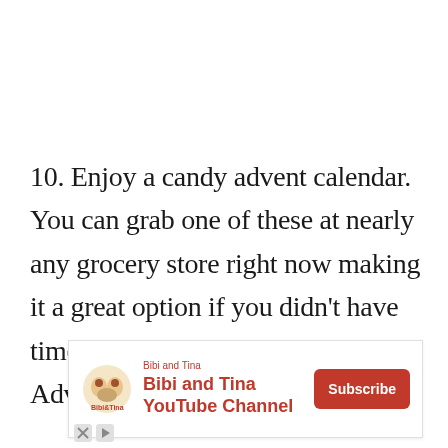10. Enjoy a candy advent calendar. You can grab one of these at nearly any grocery store right now making it a great option if you didn't have time to great your own Christmas Advent calendar.
[Figure (other): Advertisement for Bibi and Tina YouTube Channel with logo, channel name in red text, and a red Subscribe button]